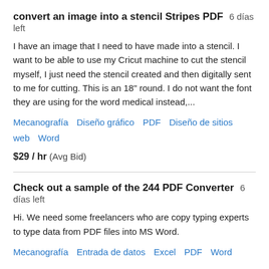convert an image into a stencil Stripes PDF  6 días left
I have an image that I need to have made into a stencil. I want to be able to use my Cricut machine to cut the stencil myself, I just need the stencil created and then digitally sent to me for cutting. This is an 18" round. I do not want the font they are using for the word medical instead,...
Mecanografía   Diseño gráfico   PDF   Diseño de sitios web   Word
$29 / hr  (Avg Bid)
Check out a sample of the 244 PDF Converter  6 días left
Hi. We need some freelancers who are copy typing experts to type data from PDF files into MS Word.
Mecanografía   Entrada de datos   Excel   PDF   Word